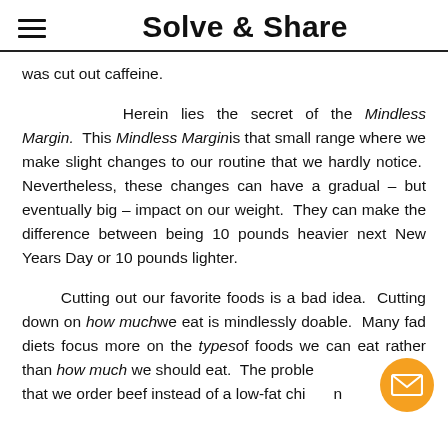Solve & Share
was cut out caffeine.
Herein lies the secret of the Mindless Margin. This Mindless Marginis that small range where we make slight changes to our routine that we hardly notice. Nevertheless, these changes can have a gradual – but eventually big – impact on our weight. They can make the difference between being 10 pounds heavier next New Years Day or 10 pounds lighter.
Cutting out our favorite foods is a bad idea. Cutting down on how muchwe eat is mindlessly doable. Many fad diets focus more on the typesof foods we can eat rather than how much we should eat. The problem that we order beef instead of a low-fat chicken